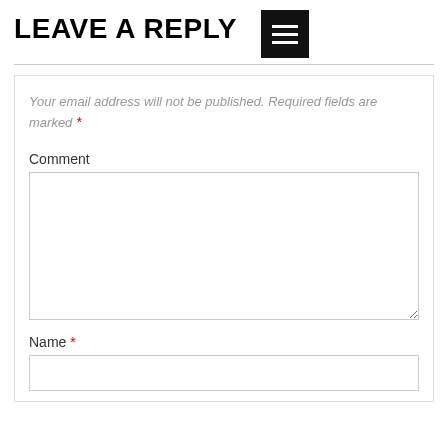LEAVE A REPLY
Your email address will not be published. Required fields are marked *
Comment
Name *